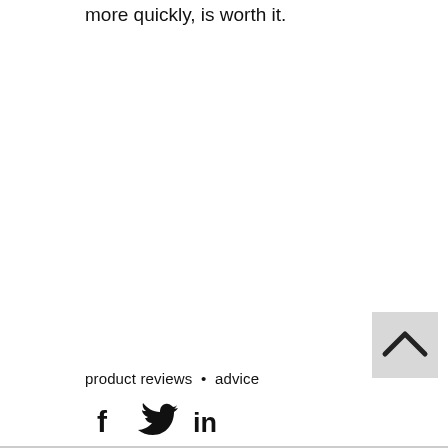more quickly, is worth it.
[Figure (other): Back to top button with upward chevron arrow on a light grey square background]
product reviews  •  advice
[Figure (other): Social media icons: Facebook (f), Twitter (bird), LinkedIn (in)]